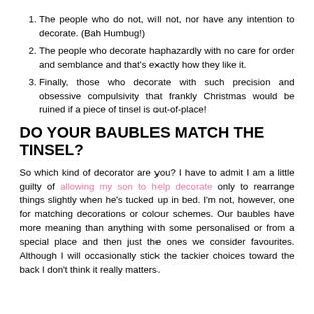The people who do not, will not, nor have any intention to decorate. (Bah Humbug!)
The people who decorate haphazardly with no care for order and semblance and that's exactly how they like it.
Finally, those who decorate with such precision and obsessive compulsivity that frankly Christmas would be ruined if a piece of tinsel is out-of-place!
DO YOUR BAUBLES MATCH THE TINSEL?
So which kind of decorator are you? I have to admit I am a little guilty of allowing my son to help decorate only to rearrange things slightly when he's tucked up in bed. I'm not, however, one for matching decorations or colour schemes. Our baubles have more meaning than anything with some personalised or from a special place and then just the ones we consider favourites. Although I will occasionally stick the tackier choices toward the back I don't think it really matters.